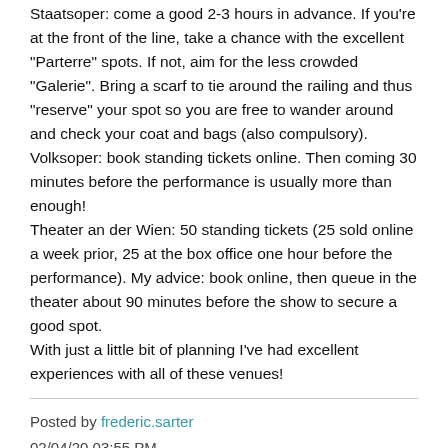Staatsoper: come a good 2-3 hours in advance. If you're at the front of the line, take a chance with the excellent "Parterre" spots. If not, aim for the less crowded "Galerie". Bring a scarf to tie around the railing and thus "reserve" your spot so you are free to wander around and check your coat and bags (also compulsory).
Volksoper: book standing tickets online. Then coming 30 minutes before the performance is usually more than enough!
Theater an der Wien: 50 standing tickets (25 sold online a week prior, 25 at the box office one hour before the performance). My advice: book online, then queue in the theater about 90 minutes before the show to secure a good spot.
With just a little bit of planning I've had excellent experiences with all of these venues!
Posted by frederic.sarter
02/04/20 03:55 PM
3 posts